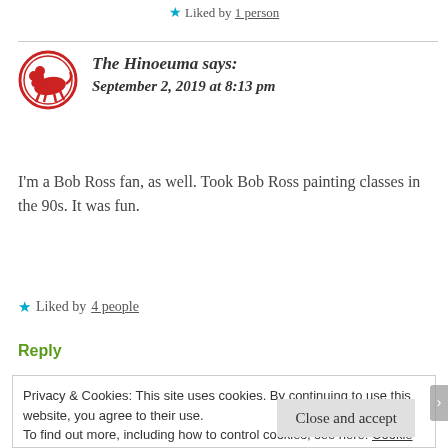★ Liked by 1 person
The Hinoeuma says:
September 2, 2019 at 8:13 pm
[Figure (logo): Red circular avatar with illustration of a figure on horseback]
I'm a Bob Ross fan, as well. Took Bob Ross painting classes in the 90s. It was fun.
★ Liked by 4 people
Reply
Privacy & Cookies: This site uses cookies. By continuing to use this website, you agree to their use.
To find out more, including how to control cookies, see here: Cookie Policy
Close and accept